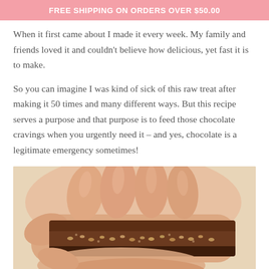FREE SHIPPING ON ORDERS OVER $50.00
When it first came about I made it every week. My family and friends loved it and couldn't believe how delicious, yet fast it is to make.
So you can imagine I was kind of sick of this raw treat after making it 50 times and many different ways. But this recipe serves a purpose and that purpose is to feed those chocolate cravings when you urgently need it – and yes, chocolate is a legitimate emergency sometimes!
[Figure (photo): A hand holding a chocolate bar with a nutty filling, broken to show the cross-section interior with seeds/nuts visible.]